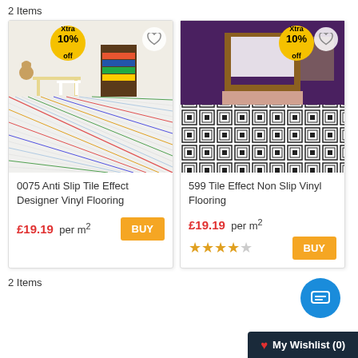2 Items
[Figure (photo): Child's playroom with colorful striped vinyl flooring, with Xtra 10% off badge and heart wishlist icon]
0075 Anti Slip Tile Effect Designer Vinyl Flooring
£19.19 per m²
[Figure (photo): Bedroom with black and white geometric tile effect non-slip vinyl flooring, with Xtra 10% off badge and heart wishlist icon]
599 Tile Effect Non Slip Vinyl Flooring
£19.19 per m²
2 Items